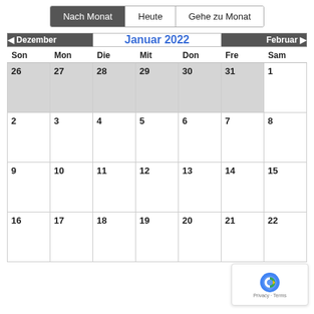[Figure (screenshot): Navigation buttons: Nach Monat (active/dark), Heute, Gehe zu Monat]
| Son | Mon | Die | Mit | Don | Fre | Sam |
| --- | --- | --- | --- | --- | --- | --- |
| 26 | 27 | 28 | 29 | 30 | 31 | 1 |
| 2 | 3 | 4 | 5 | 6 | 7 | 8 |
| 9 | 10 | 11 | 12 | 13 | 14 | 15 |
| 16 | 17 | 18 | 19 | 20 | 21 | 22 |